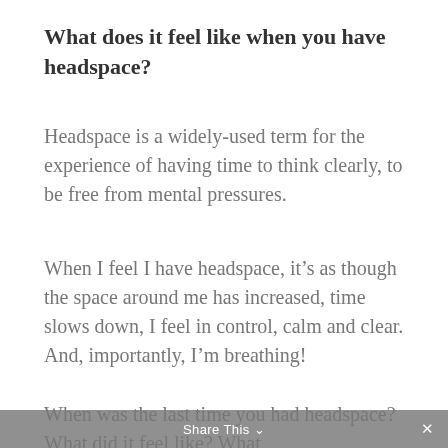What does it feel like when you have headspace?
Headspace is a widely-used term for the experience of having time to think clearly, to be free from mental pressures.
When I feel I have headspace, it’s as though the space around me has increased, time slows down, I feel in control, calm and clear. And, importantly, I’m breathing!
When was the last time you had headspace? What did it feel like? What
Share This